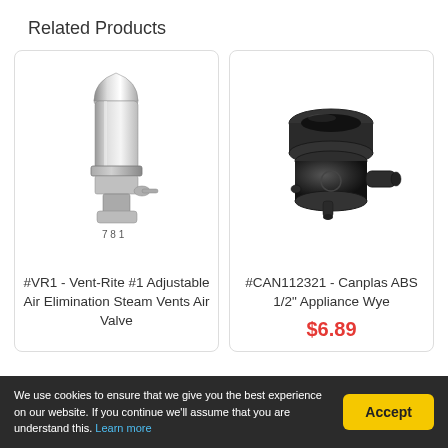Related Products
[Figure (photo): Silver metallic Vent-Rite #1 adjustable air elimination steam vent valve with threaded base, labeled 7 8 1 at bottom]
#VR1 - Vent-Rite #1 Adjustable Air Elimination Steam Vents Air Valve
[Figure (photo): Black ABS plastic Canplas 1/2 inch appliance wye pipe fitting with side outlet]
#CAN112321 - Canplas ABS 1/2" Appliance Wye
$6.89
We use cookies to ensure that we give you the best experience on our website. If you continue we'll assume that you are understand this. Learn more